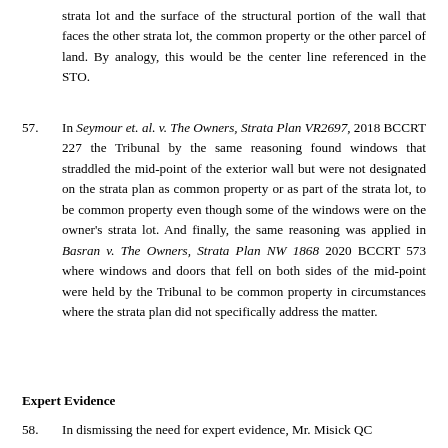strata lot and the surface of the structural portion of the wall that faces the other strata lot, the common property or the other parcel of land. By analogy, this would be the center line referenced in the STO.
57. In Seymour et. al. v. The Owners, Strata Plan VR2697, 2018 BCCRT 227 the Tribunal by the same reasoning found windows that straddled the mid-point of the exterior wall but were not designated on the strata plan as common property or as part of the strata lot, to be common property even though some of the windows were on the owner's strata lot. And finally, the same reasoning was applied in Basran v. The Owners, Strata Plan NW 1868 2020 BCCRT 573 where windows and doors that fell on both sides of the mid-point were held by the Tribunal to be common property in circumstances where the strata plan did not specifically address the matter.
Expert Evidence
58. In dismissing the need for expert evidence, Mr. Misick QC